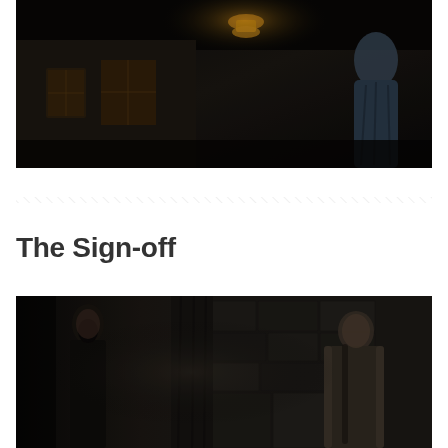[Figure (photo): Dark night scene of a traditional Asian building exterior with a lantern light glowing on the ceiling, a figure in light-colored clothing visible on the right side]
[Figure (illustration): Decorative diagonal hatching/stripe divider line spanning the width of the page]
The Sign-off
[Figure (photo): Dark moody scene of two figures facing each other near a stone wall, one in dark clothing on the left and one in fur-trimmed clothing on the right]